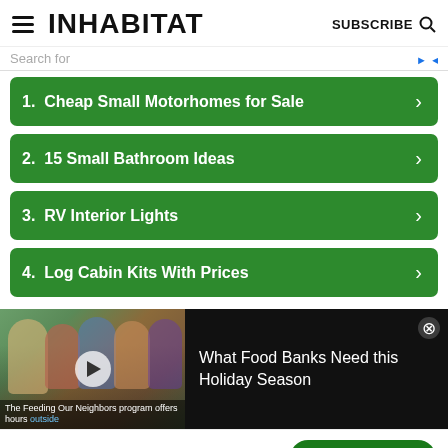INHABITAT SUBSCRIBE
Search for
1. Cheap Small Motorhomes for Sale
2. 15 Small Bathroom Ideas
3. RV Interior Lights
4. Log Cabin Kits With Prices
[Figure (screenshot): Video ad thumbnail showing people at a food bank with play button overlay and caption 'The Feeding Our Neighbors program offers hours outside']
What Food Banks Need this Holiday Season
Fast credit card payoff
Download Now